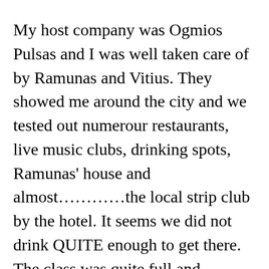My host company was Ogmios Pulsas and I was well taken care of by Ramunas and Vitius. They showed me around the city and we tested out numerour restaurants, live music clubs, drinking spots, Ramunas' house and almost…………the local strip club by the hotel. It seems we did not drink QUITE enough to get there. The class was quite full and included important engineers from Lithuania, Latvia, Estonia, Poland, Finland, Russia and more. Peoplpe were very focused on the subject at hand. It is amamzing what a difference the years make. It was not so long ago that I would stand in front of a bunch of